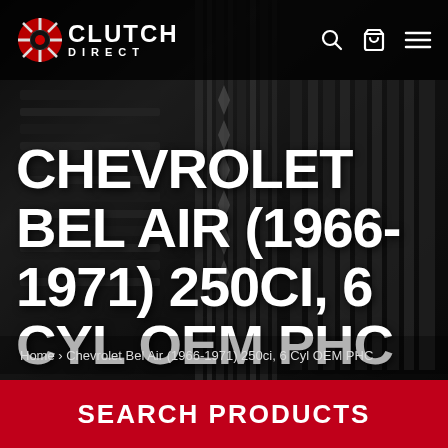CLUTCH DIRECT
CHEVROLET BEL AIR (1966-1971) 250CI, 6 CYL OEM PHC
Home › Chevrolet Bel Air (1966-1971) 250ci, 6 Cyl OEM PHC
SEARCH PRODUCTS